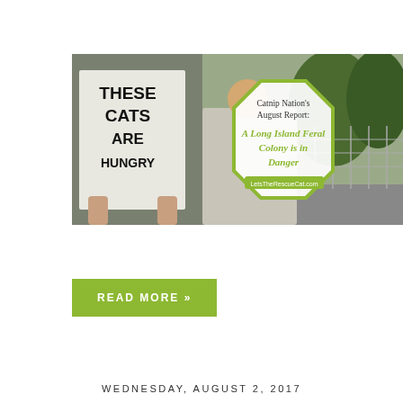[Figure (photo): A protest photo showing a person holding a sign reading 'THESE CATS ARE HUNGRY', with an overlay of a white octagon-shaped badge containing text: "Catnip Nation's August Report: A Long Island Feral Colony is in Danger" and a green URL bar reading 'LetteTheRescueCat.com'. Background shows trees and a chain-link fence.]
READ MORE »
WEDNESDAY, AUGUST 2, 2017